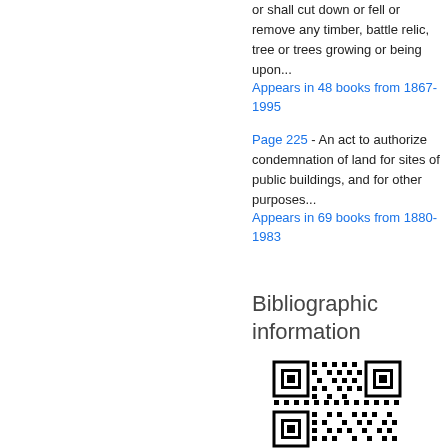or shall cut down or fell or remove any timber, battle relic, tree or trees growing or being upon...
Appears in 48 books from 1867-1995
Page 225 - An act to authorize condemnation of land for sites of public buildings, and for other purposes...
Appears in 69 books from 1880-1983
Bibliographic information
[Figure (other): QR code for bibliographic information]